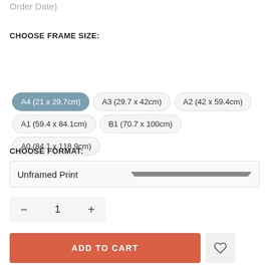Order Date)
CHOOSE FRAME SIZE:
A4 (21 x 29.7cm) [selected]
A3 (29.7 x 42cm)
A2 (42 x 59.4cm)
A1 (59.4 x 84.1cm)
B1 (70.7 x 100cm)
A0 (84.1 x 118.9cm)
CHOOSE FORMAT:
Unframed Print
1
ADD TO CART
Free delivery for all orders within 7 days of delivery